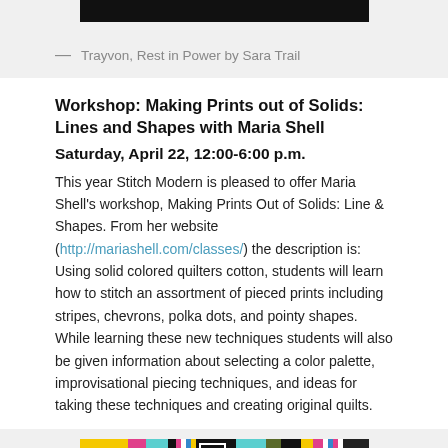[Figure (photo): Dark/black rectangular image at top, partially visible — appears to be artwork]
— Trayvon, Rest in Power by Sara Trail
Workshop: Making Prints out of Solids: Lines and Shapes with Maria Shell
Saturday, April 22, 12:00-6:00 p.m.
This year Stitch Modern is pleased to offer Maria Shell's workshop, Making Prints Out of Solids: Line & Shapes. From her website (http://mariashell.com/classes/) the description is: Using solid colored quilters cotton, students will learn how to stitch an assortment of pieced prints including stripes, chevrons, polka dots, and pointy shapes. While learning these new techniques students will also be given information about selecting a color palette, improvisational piecing techniques, and ideas for taking these techniques and creating original quilts.
[Figure (photo): Colorful quilt with geometric shapes — yellows, pinks, blacks, teals, visible at bottom of page]